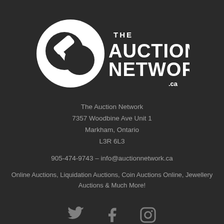[Figure (logo): The Auction Network logo — white circular icon with gavel silhouette on left, white bold text 'THE AUCTION NETWORK .ca' on right, on dark background]
The Auction Network
7357 Woodbine Ave Unit 1
Markham, Ontario
L3R 6L3
905-474-9743 – info@auctionnetwork.ca
Online Auctions, Liquidation Auctions, Coin Auctions Online, Jewellery Auctions & Much More!
[Figure (illustration): Twitter, Facebook, and Instagram social media icons in grey]